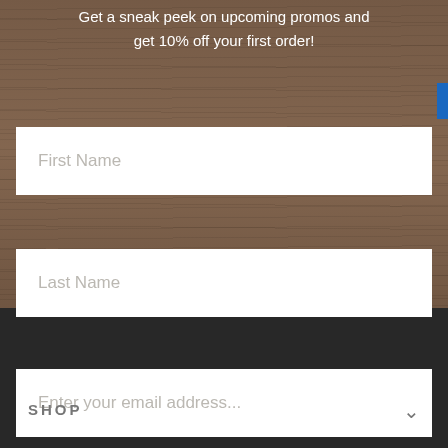Get a sneak peek on upcoming promos and get 10% off your first order!
[Figure (screenshot): Web form with wood-texture background. Contains First Name field, Last Name field, Enter your email address field, and a SIGN UP button in orange-red.]
SHOP